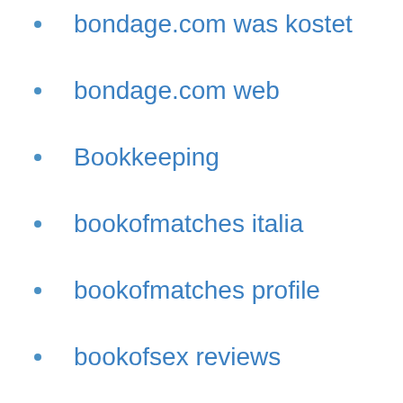bondage.com was kostet
bondage.com web
Bookkeeping
bookofmatches italia
bookofmatches profile
bookofsex reviews
boston escort meaning
boulder escort directory
boulder escort sites
boulder escort website
brazilcupid come funziona
brazilcupid italia
brazilcupid reviews
brazilcupid was kostet
brazilian-chat-rooms mobile site